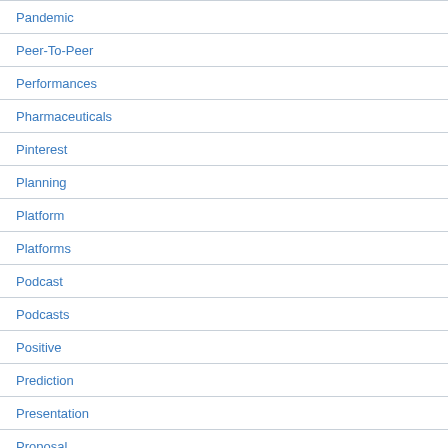Pandemic
Peer-To-Peer
Performances
Pharmaceuticals
Pinterest
Planning
Platform
Platforms
Podcast
Podcasts
Positive
Prediction
Presentation
Proposal